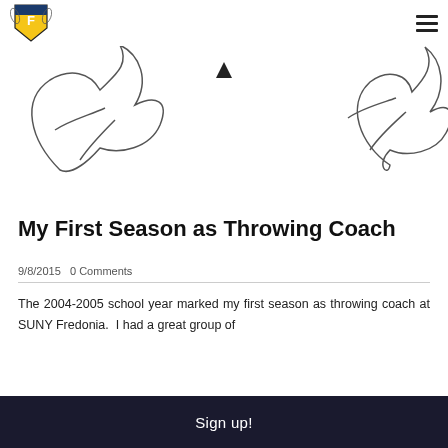Fredonia Athletics logo and navigation menu
[Figure (illustration): Two outline drawings of a blue devil mascot (stylized figure), one on the left and one on the right, with a small downward triangle in the center top area, on a white background.]
My First Season as Throwing Coach
9/8/2015   0 Comments
The 2004-2005 school year marked my first season as throwing coach at SUNY Fredonia.  I had a great group of